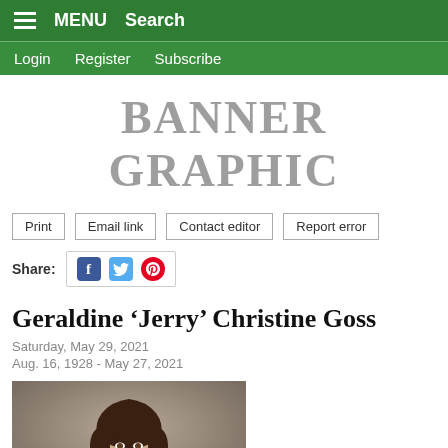MENU  Search
Login  Register  Subscribe
BANNER GRAPHIC
Print
Email link
Contact editor
Report error
Share:
Geraldine 'Jerry' Christine Goss
Saturday, May 29, 2021
Aug. 16, 1928 - May 27, 2021
[Figure (photo): Portrait photo of Geraldine 'Jerry' Christine Goss, a woman with dark hair against a grey background]